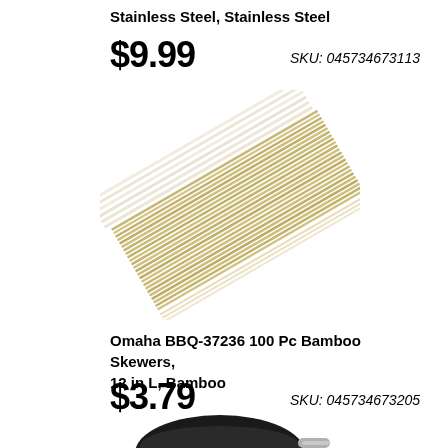Stainless Steel, Stainless Steel
$9.99
SKU: 045734673113
[Figure (photo): Bundle of bamboo skewers arranged diagonally on white background]
Omaha BBQ-37236 100 Pc Bamboo Skewers, 12 in L, Bamboo
$3.79
SKU: 045734673205
[Figure (photo): Black wok pan with stainless steel handle, partially visible at bottom of page]